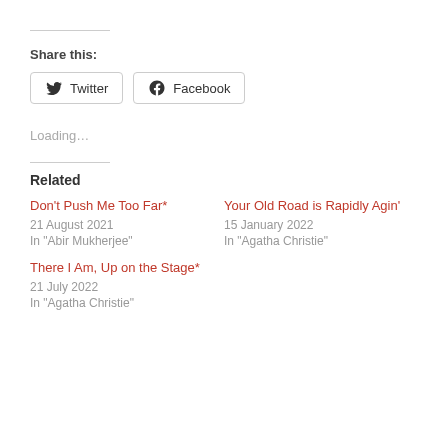Share this:
Twitter  Facebook
Loading…
Related
Don't Push Me Too Far*
21 August 2021
In "Abir Mukherjee"
Your Old Road is Rapidly Agin'
15 January 2022
In "Agatha Christie"
There I Am, Up on the Stage*
21 July 2022
In "Agatha Christie"